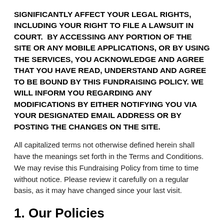SIGNIFICANTLY AFFECT YOUR LEGAL RIGHTS, INCLUDING YOUR RIGHT TO FILE A LAWSUIT IN COURT.  BY ACCESSING ANY PORTION OF THE SITE OR ANY MOBILE APPLICATIONS, OR BY USING THE SERVICES, YOU ACKNOWLEDGE AND AGREE THAT YOU HAVE READ, UNDERSTAND AND AGREE TO BE BOUND BY THIS FUNDRAISING POLICY. WE WILL INFORM YOU REGARDING ANY MODIFICATIONS BY EITHER NOTIFYING YOU VIA YOUR DESIGNATED EMAIL ADDRESS OR BY POSTING THE CHANGES ON THE SITE.
All capitalized terms not otherwise defined herein shall have the meanings set forth in the Terms and Conditions. We may revise this Fundraising Policy from time to time without notice. Please review it carefully on a regular basis, as it may have changed since your last visit.
1.  Our Policies